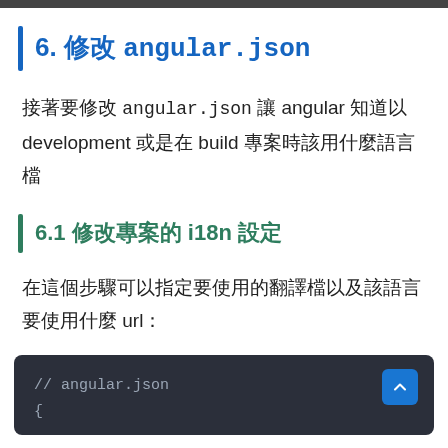6. 修改 angular.json
接著要修改 angular.json 讓 angular 知道以 development 或是在 build 專案時該用什麼語言檔
6.1 修改專案的 i18n 設定
在這個步驟可以指定要使用的翻譯檔以及該語言要使用什麼 url：
[Figure (screenshot): Code block showing angular.json comment and opening brace: '// angular.json' and '{']